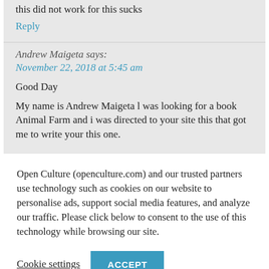this did not work for this sucks
Reply
Andrew Maigeta says:
November 22, 2018 at 5:45 am
Good Day
My name is Andrew Maigeta l was looking for a book Animal Farm and i was directed to your site this that got me to write your this one.
Open Culture (openculture.com) and our trusted partners use technology such as cookies on our website to personalise ads, support social media features, and analyze our traffic. Please click below to consent to the use of this technology while browsing our site.
Cookie settings
ACCEPT